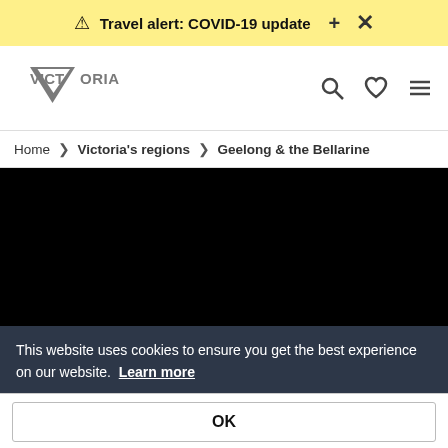Travel alert: COVID-19 update
[Figure (logo): Victoria state government logo with downward-pointing triangle and VICTORIA text]
Home › Victoria's regions › Geelong & the Bellarine
[Figure (photo): Hero image area rendered as black rectangle]
This website uses cookies to ensure you get the best experience on our website. Learn more
OK